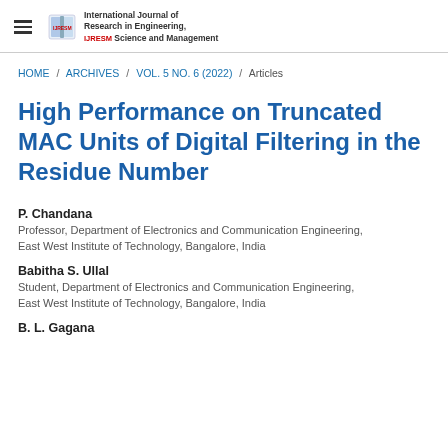International Journal of Research in Engineering, Science and Management
HOME / ARCHIVES / VOL. 5 NO. 6 (2022) / Articles
High Performance on Truncated MAC Units of Digital Filtering in the Residue Number
P. Chandana
Professor, Department of Electronics and Communication Engineering, East West Institute of Technology, Bangalore, India
Babitha S. Ullal
Student, Department of Electronics and Communication Engineering, East West Institute of Technology, Bangalore, India
B. L. Gagana